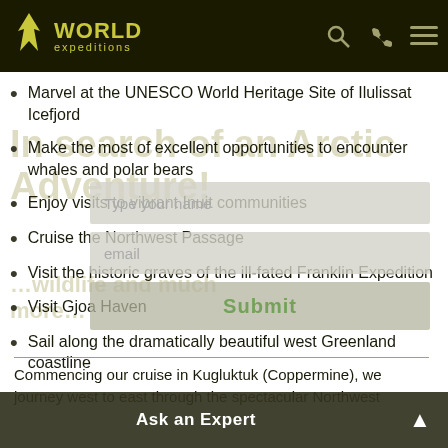World Expeditions
Marvel at the UNESCO World Heritage Site of Ilulissat Icefjord
Make the most of excellent opportunities to encounter whales and polar bears
Enjoy visits to vibrant Inuit communities
Cruise the Northwest Passage
Visit the historic graves of the ill-fated Franklin Expedition
Visit Gjoa Haven
Sail along the dramatically beautiful west Greenland coastline
Commencing our cruise in Kugluktuk (Coppermine), we journey west to east through the spectacular Northwest